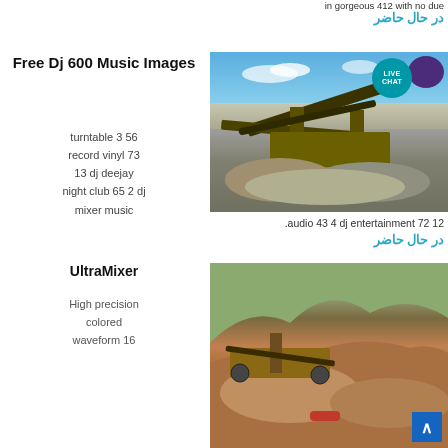in gorgeous 412 with no due
در حال حاضر
Free Dj 600 Music Images
turntable 3 56 record vinyl 73 13 dj deejay night club 65 2 dj mixer music
[Figure (photo): Mining/quarry equipment with conveyor belts and stone piles under blue sky, with a LIVE CHAT badge overlay]
.audio 43 4 dj entertainment 72 12
در حال حاضر
UltraMixer
High precision colored waveform 16
[Figure (photo): Mining/quarry equipment and machinery with red/brown stone piles, scroll-to-top button visible]